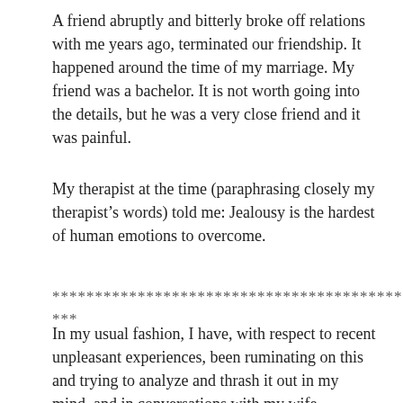A friend abruptly and bitterly broke off relations with me years ago, terminated our friendship. It happened around the time of my marriage. My friend was a bachelor. It is not worth going into the details, but he was a very close friend and it was painful.
My therapist at the time (paraphrasing closely my therapist’s words) told me: Jealousy is the hardest of human emotions to overcome.
***************************************************
In my usual fashion, I have, with respect to recent unpleasant experiences, been ruminating on this and trying to analyze and thrash it out in my mind, and in conversations with my wife.